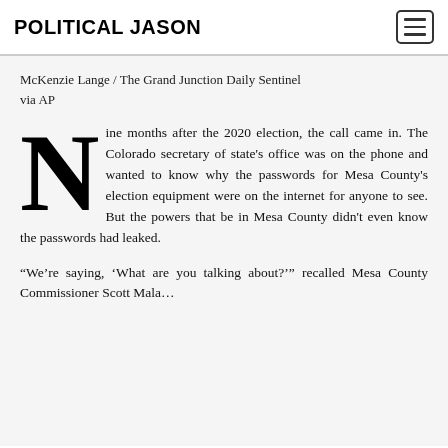POLITICAL JASON
McKenzie Lange / The Grand Junction Daily Sentinel via AP
Nine months after the 2020 election, the call came in. The Colorado secretary of state's office was on the phone and wanted to know why the passwords for Mesa County's election equipment were on the internet for anyone to see. But the powers that be in Mesa County didn't even know the passwords had leaked.
“We’re saying, ‘What are you talking about?’” recalled Mesa County Commissioner Scott Mala…